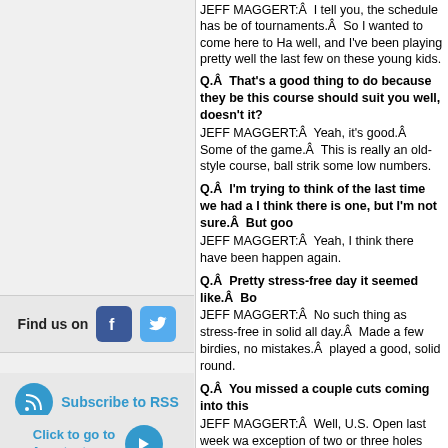JEFF MAGGERT:Â  I tell you, the schedule has be of tournaments.Â  So I wanted to come here to Ha well, and I've been playing pretty well the last few on these young kids.
Q.Â  That's a good thing to do because they be this course should suit you well, doesn't it? JEFF MAGGERT:Â  Yeah, it's good.Â  Some of the game.Â  This is really an old-style course, ball strik some low numbers.
Q.Â  I'm trying to think of the last time we had a I think there is one, but I'm not sure.Â  But goo JEFF MAGGERT:Â  Yeah, I think there have been happen again.
Q.Â  Pretty stress-free day it seemed like.Â  Bo JEFF MAGGERT:Â  No such thing as stress-free in solid all day.Â  Made a few birdies, no mistakes.Â played a good, solid round.
Q.Â  You missed a couple cuts coming into this JEFF MAGGERT:Â  Well, U.S. Open last week wa exception of two or three holes really.Â  But I've be could come in here and make a few putts, I could d
Q.Â  You've seen Peter Jacobsen here, Ken Dub generation? JEFF MAGGERT:Â  Well, I hope it works out that w courses where these young kids hit it so far they ha it's like I said, it's ball striking, keeping the ball on t
Q.Â  Be honest, how much did the mini golf hel JEFF MAGGERT:Â  I putted good so maybe it help
Q.Â  Here with Jeff Maggert.Â  We joked that yo week we had a little celebrity mini golf tournam
[Figure (infographic): Find us on Facebook and Twitter social media icons]
[Figure (infographic): Subscribe to RSS button with RSS icon]
[Figure (infographic): Click to go to Asaptext.com button with arrow]